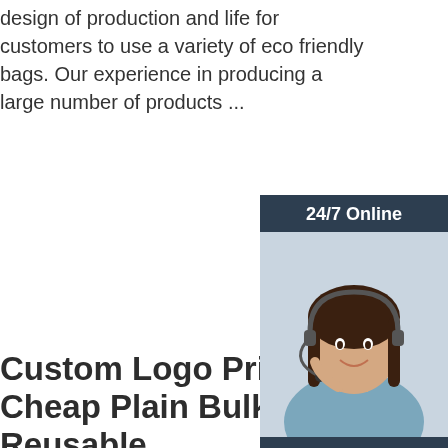design of production and life for customers to use a variety of eco friendly bags. Our experience in producing a large number of products ...
[Figure (other): Orange 'Get Price' button]
[Figure (other): Sidebar widget with dark background showing '24/7 Online', a customer service representative photo, 'Click here for free chat!' text, and an orange 'QUOTATION' button]
Custom Logo Printe... Cheap Plain Bulk L... Reusable ...
Custom Logo Printed Cheap Plain Bulk Large Reusable Organic Eco Friendly Cotton Canvas Tote Shopping Bag, Find Complete Details about Custom Logo Printed Cheap
[Figure (logo): TOP logo with orange dots forming a triangle/arch above the word TOP in orange on white background]